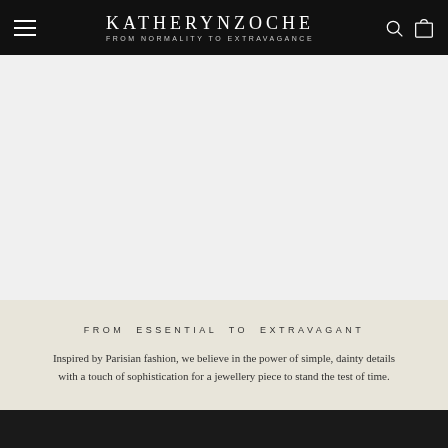KATHERYNZOCHE — FROM NORMALITY TO EXTRAVAGANCE
[Figure (photo): Large gray placeholder image area below the navigation header]
FROM ESSENTIAL TO EXTRAVAGANT
Inspired by Parisian fashion, we believe in the power of simple, dainty details with a touch of sophistication for a jewellery piece to stand the test of time.